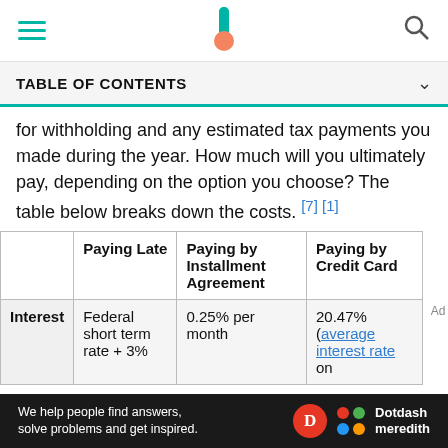TABLE OF CONTENTS
for withholding and any estimated tax payments you made during the year. How much will you ultimately pay, depending on the option you choose? The table below breaks down the costs. [7] [1]
|  | Paying Late | Paying by Installment Agreement | Paying by Credit Card |
| --- | --- | --- | --- |
| Interest | Federal short term rate + 3% | 0.25% per month | 20.47% (average interest rate on |
We help people find answers, solve problems and get inspired. Dotdash meredith